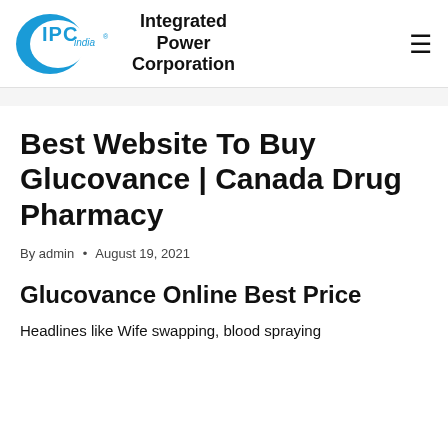[Figure (logo): IPC india logo with blue crescent shape and text, followed by company name 'Integrated Power Corporation']
Best Website To Buy Glucovance | Canada Drug Pharmacy
By admin • August 19, 2021
Glucovance Online Best Price
Headlines like Wife swapping, blood spraying